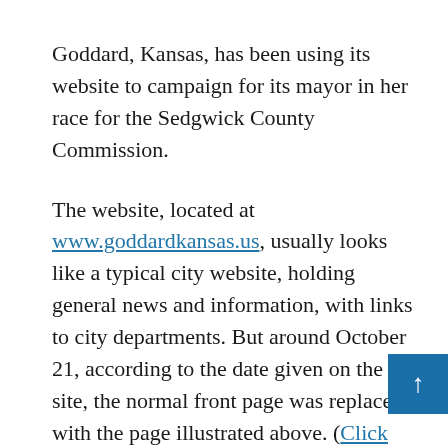Goddard, Kansas, has been using its website to campaign for its mayor in her race for the Sedgwick County Commission.
The website, located at www.goddardkansas.us, usually looks like a typical city website, holding general news and information, with links to city departments. But around October 21, according to the date given on the site, the normal front page was replaced with the page illustrated above. (Click here for a full-size image of the pa…
The message on this new front page is